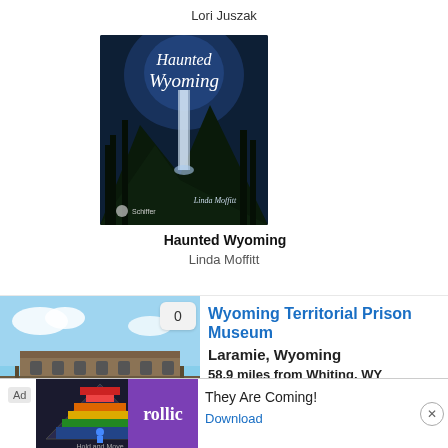Lori Juszak
[Figure (photo): Book cover of 'Haunted Wyoming' by Linda Moffitt, published by Schiffer. Dark blue cover showing a mountain waterfall with pine trees and text in white cursive lettering.]
Haunted Wyoming
Linda Moffitt
[Figure (photo): Photo of Wyoming Territorial Prison Museum building exterior with blue sky.]
Wyoming Territorial Prison Museum
Laramie, Wyoming
58.9 miles from Whiting, WY
Now a historical park, frontier town and museum, this former penitentiary once house
[Figure (other): Advertisement banner for 'They Are Coming!' mobile game by Rollic. Shows ad label, game graphic, Rollic purple logo, headline text and Download button with close X.]